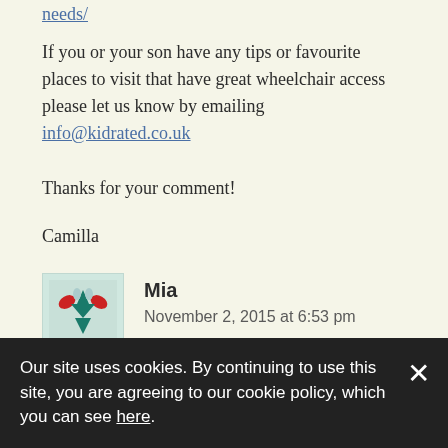needs/
If you or your son have any tips or favourite places to visit that have great wheelchair access please let us know by emailing info@kidrated.co.uk
Thanks for your comment!
Camilla
Mia
November 2, 2015 at 6:53 pm
A waste of time my son hated it. More for
Our site uses cookies. By continuing to use this site, you are agreeing to our cookie policy, which you can see here.